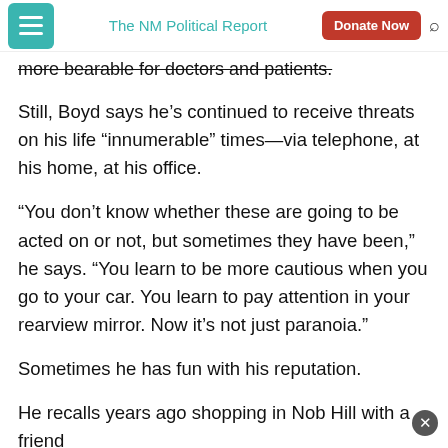The NM Political Report | Donate Now
more bearable for doctors and patients.
Still, Boyd says he’s continued to receive threats on his life “innumerable” times—via telephone, at his home, at his office.
“You don’t know whether these are going to be acted on or not, but sometimes they have been,” he says. “You learn to be more cautious when you go to your car. You learn to pay attention in your rearview mirror. Now it’s not just paranoia.”
Sometimes he has fun with his reputation.
He recalls years ago shopping in Nob Hill with a friend